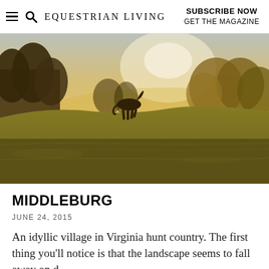EQUESTRIAN LIVING | SUBSCRIBE NOW GET THE MAGAZINE
[Figure (photo): A lone horse silhouetted against a golden sunset sky, trotting across a grassy hillside field with trees in the background. Warm golden-hour lighting illuminates the pastoral Virginia countryside scene.]
MIDDLEBURG
JUNE 24, 2015
An idyllic village in Virginia hunt country. The first thing you'll notice is that the landscape seems to fall away on d